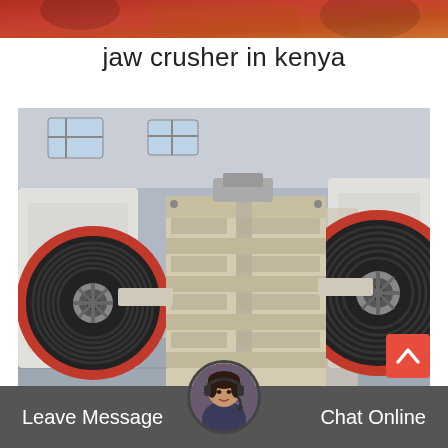[Figure (photo): Partial view of a red/orange industrial machinery background at the top of the page]
jaw crusher in kenya
[Figure (photo): Industrial jaw crusher machine photographed in a factory/warehouse setting. The crusher is cream/beige colored with large black and red flywheels on both sides. The ribbed frame structure of the crusher body is clearly visible.]
sizes of gyratory crusher
Leave Message    Chat Online